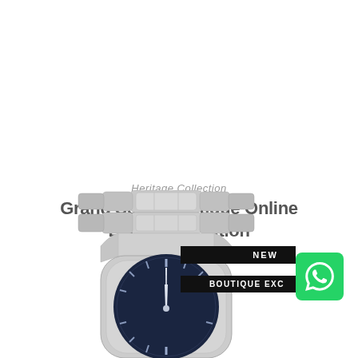Heritage Collection
Grand Seiko Boutique Online Exclusive Edition
[Figure (photo): Grand Seiko luxury watch with silver stainless steel bracelet and dark blue dial, shown from top-down angle revealing the bracelet links and upper case, partially cropped at bottom of image]
NEW
BOUTIQUE EXC